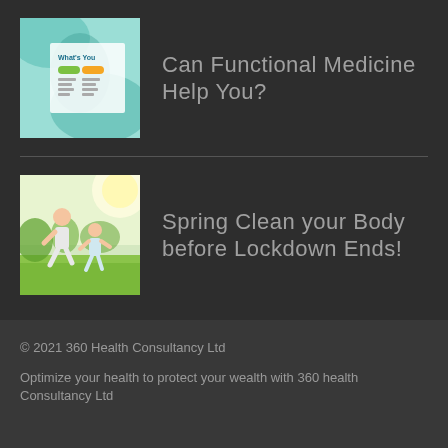[Figure (illustration): Thumbnail image of a functional medicine book/infographic with teal/green colors and text 'What's Your...']
Can Functional Medicine Help You?
[Figure (photo): Photo of two people (adults) exercising outdoors in a sunny park, doing squats or stretching exercises]
Spring Clean your Body before Lockdown Ends!
© 2021 360 Health Consultancy Ltd
Optimize your health to protect your wealth with 360 health Consultancy Ltd